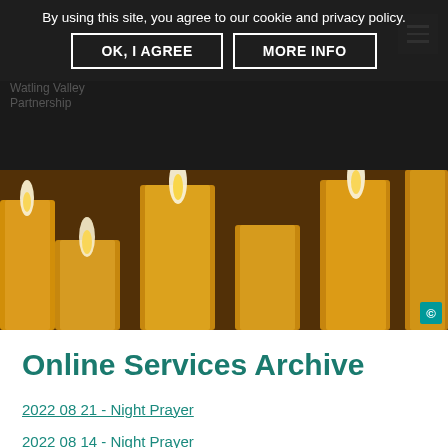By using this site, you agree to our cookie and privacy policy. OK, I AGREE  MORE INFO
[Figure (photo): Photograph of multiple lit yellow/golden candles against a dark background]
Online Services Archive
2022 08 21 - Night Prayer
2022 08 14 - Night Prayer
2022 08 07 - Night Prayer
2022 07 31 - Night Prayer